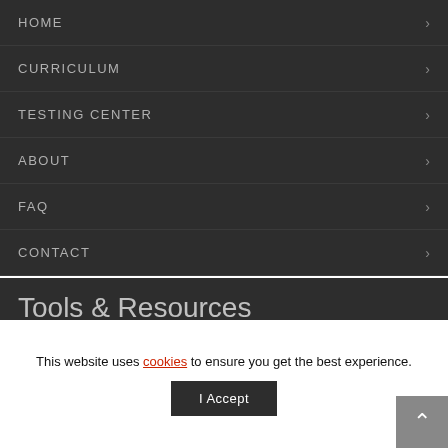HOME
CURRICULUM
TESTING CENTER
ABOUT
FAQ
CONTACT
Tools & Resources
DASHBOARD
JIU-JITSU JOURNAL
FORUMS
This website uses cookies to ensure you get the best experience.
I Accept